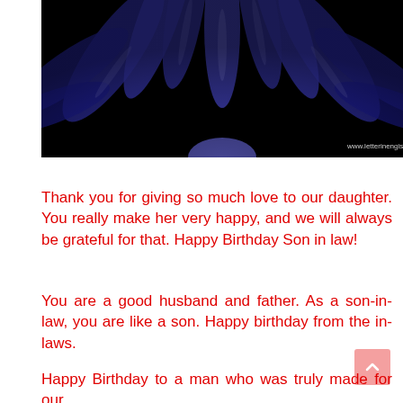[Figure (photo): Close-up photo of a blue daisy/flower against a black background, petals spread outward. Watermark reads www.letterinengish.com]
Thank you for giving so much love to our daughter. You really make her very happy, and we will always be grateful for that. Happy Birthday Son in law!
You are a good husband and father. As a son-in-law, you are like a son. Happy birthday from the in-laws.
Happy Birthday to a man who was truly made for our